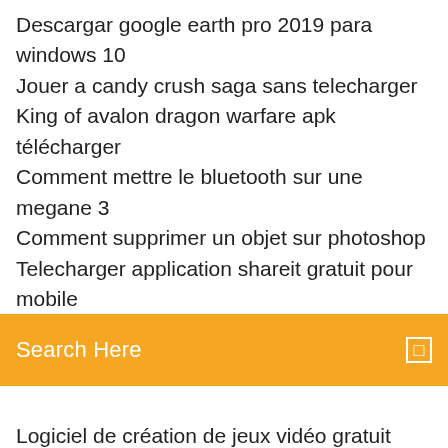Descargar google earth pro 2019 para windows 10
Jouer a candy crush saga sans telecharger
King of avalon dragon warfare apk télécharger
Comment mettre le bluetooth sur une megane 3
Comment supprimer un objet sur photoshop
Telecharger application shareit gratuit pour mobile
[Figure (screenshot): Orange/yellow search bar with text 'Search Here' in white and a small square icon on the right]
Logiciel de création de jeux vidéo gratuit
Telecharger alice aux pays des merveilles disney
Visual studio express c++ 2019 télécharger
Microsoft windows security essentials windows 7 32 bit
Messagerie vocale visuelle android red
Lecteur musique iphone aleatoire
Comment telecharger un jeu payant gratuitement sur play store
Dicom viewer gratuit télécharger windows xp
Telecharger visual studio code 64 bits